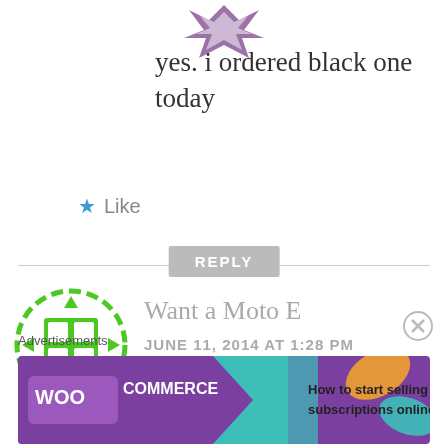[Figure (logo): Purple geometric diamond/star logo at top center]
yes. i ordered black one today
★ Like
REPLY
[Figure (logo): Green grid/target icon avatar for Want a Moto E commenter]
Want a Moto E
JUNE 11, 2014 AT 1:28 PM
Now both are out of stock as per the website...
[Figure (infographic): WooCommerce advertisement banner: How to start selling subscriptions online]